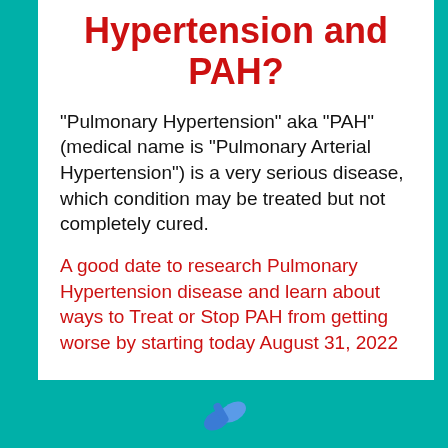Hypertension and PAH?
"Pulmonary Hypertension" aka "PAH" (medical name is "Pulmonary Arterial Hypertension") is a very serious disease, which condition may be treated but not completely cured.
A good date to research Pulmonary Hypertension disease and learn about ways to Treat or Stop PAH from getting worse by starting today August 31, 2022